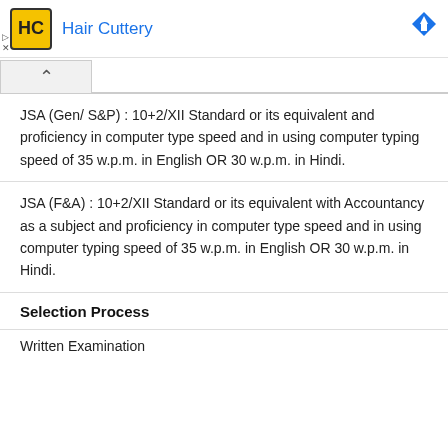[Figure (logo): Hair Cuttery advertisement banner with yellow HC logo and blue brand name]
JSA (Gen/ S&P) : 10+2/XII Standard or its equivalent and proficiency in computer type speed and in using computer typing speed of 35 w.p.m. in English OR 30 w.p.m. in Hindi.
JSA (F&A) : 10+2/XII Standard or its equivalent with Accountancy as a subject and proficiency in computer type speed and in using computer typing speed of 35 w.p.m. in English OR 30 w.p.m. in Hindi.
Selection Process
Written Examination